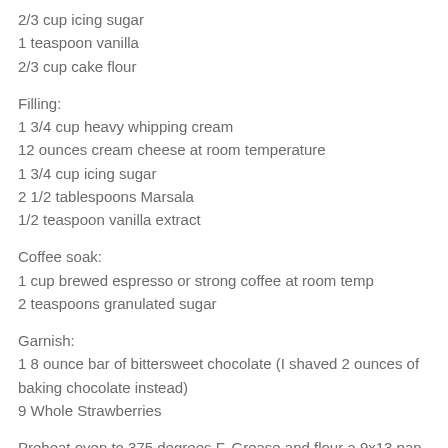2/3 cup icing sugar
1 teaspoon vanilla
2/3 cup cake flour
Filling:
1 3/4 cup heavy whipping cream
12 ounces cream cheese at room temperature
1 3/4 cup icing sugar
2 1/2 tablespoons Marsala
1/2 teaspoon vanilla extract
Coffee soak:
1 cup brewed espresso or strong coffee at room temp
2 teaspoons granulated sugar
Garnish:
1 8 ounce bar of bittersweet chocolate (I shaved 2 ounces of baking chocolate instead)
9 Whole Strawberries
Preheat oven to 375 degrees F. Grease and flour a 9x13 pan. Beat yolks until thick-set aside. Whip egg whites and